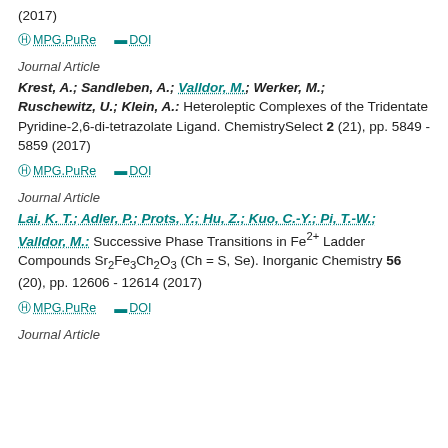(2017)
⊙ MPG.PuRe   ≡ DOI
Journal Article
Krest, A.; Sandleben, A.; Valldor, M.; Werker, M.; Ruschewitz, U.; Klein, A.: Heteroleptic Complexes of the Tridentate Pyridine-2,6-di-tetrazolate Ligand. ChemistrySelect 2 (21), pp. 5849 - 5859 (2017)
⊙ MPG.PuRe   ≡ DOI
Journal Article
Lai, K. T.; Adler, P.; Prots, Y.; Hu, Z.; Kuo, C.-Y.; Pi, T.-W.; Valldor, M.: Successive Phase Transitions in Fe2+ Ladder Compounds Sr2Fe3Ch2O3 (Ch = S, Se). Inorganic Chemistry 56 (20), pp. 12606 - 12614 (2017)
⊙ MPG.PuRe   ≡ DOI
Journal Article